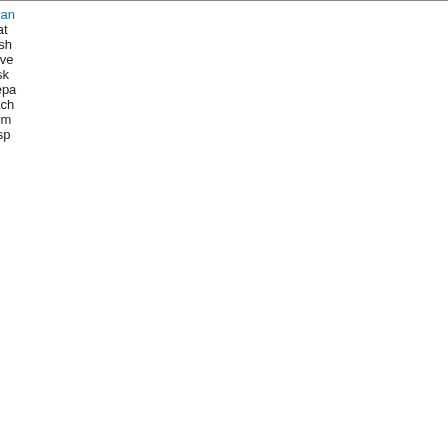| # | Parameter Name | Description |
| --- | --- | --- |
|  |  | quan... that wish save disk Sepa each num a sp |
| 5 | Input_Opt%ND63_FREQ | The freq seco whic ND6 diag will b writt disk |
| 6 | Input_Opt%ND63_IMIN
Input_Opt%ND63_IMAX | The whic |